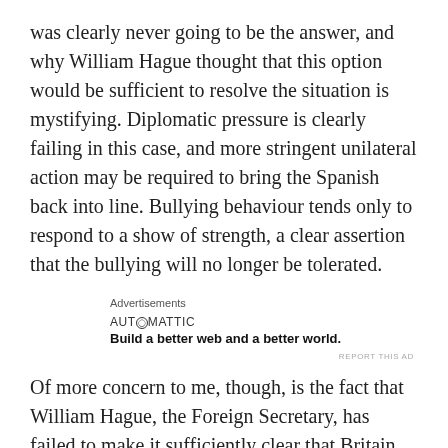was clearly never going to be the answer, and why William Hague thought that this option would be sufficient to resolve the situation is mystifying. Diplomatic pressure is clearly failing in this case, and more stringent unilateral action may be required to bring the Spanish back into line. Bullying behaviour tends only to respond to a show of strength, a clear assertion that the bullying will no longer be tolerated.
[Figure (other): Automattic advertisement block: 'Advertisements' label, 'AUTOMATTIC' brand name with circle-O logo, tagline 'Build a better web and a better world.' and 'REPORT THIS AD' link]
Of more concern to me, though, is the fact that William Hague, the Foreign Secretary, has failed to make it sufficiently clear that Britain will not tolerate these childish antics. I had not expected someone so competent